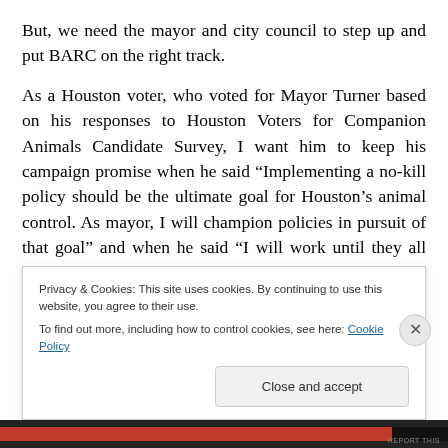But, we need the mayor and city council to step up and put BARC on the right track.
As a Houston voter, who voted for Mayor Turner based on his responses to Houston Voters for Companion Animals Candidate Survey, I want him to keep his campaign promise when he said “Implementing a no-kill policy should be the ultimate goal for Houston’s animal control. As mayor, I will champion policies in pursuit of that goal” and when he said “I will work until they all have a forever home.”
Privacy & Cookies: This site uses cookies. By continuing to use this website, you agree to their use. To find out more, including how to control cookies, see here: Cookie Policy